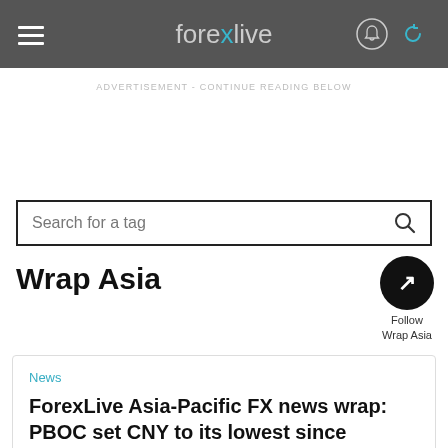forexlive
ADVERTISEMENT - CONTINUE READING BELOW
Search for a tag
Wrap Asia
Follow Wrap Asia
News
ForexLive Asia-Pacific FX news wrap: PBOC set CNY to its lowest since September 2020